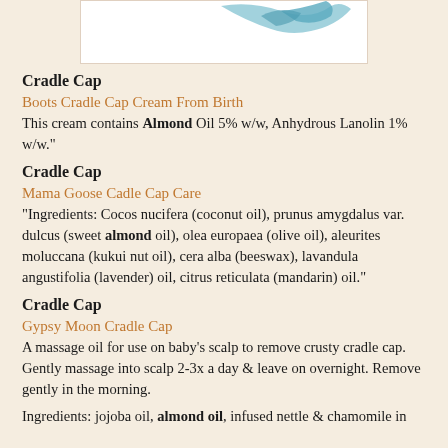[Figure (illustration): Partial illustration of a bird (appears to be a blue/teal bird) at the top of the page, cropped]
Cradle Cap
Boots Cradle Cap Cream From Birth
This cream contains Almond Oil 5% w/w, Anhydrous Lanolin 1% w/w."
Cradle Cap
Mama Goose Cadle Cap Care
"Ingredients: Cocos nucifera (coconut oil), prunus amygdalus var. dulcus (sweet almond oil), olea europaea (olive oil), aleurites moluccana (kukui nut oil), cera alba (beeswax), lavandula angustifolia (lavender) oil, citrus reticulata (mandarin) oil."
Cradle Cap
Gypsy Moon Cradle Cap
A massage oil for use on baby’s scalp to remove crusty cradle cap. Gently massage into scalp 2-3x a day & leave on overnight. Remove gently in the morning.
Ingredients: jojoba oil, almond oil, infused nettle & chamomile in